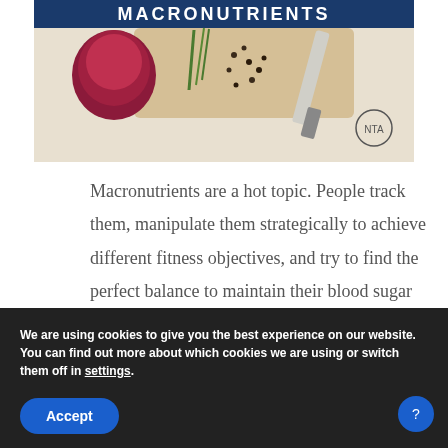[Figure (photo): Partial view of a food/cooking image with the text MACRONUTRIENTS at the top, showing a red onion, peppercorns, a cutting board, and a knife on a light surface. NTA logo visible.]
Macronutrients are a hot topic. People track them, manipulate them strategically to achieve different fitness objectives, and try to find the perfect balance to maintain their blood sugar balance. You probably know what I'm talking
We are using cookies to give you the best experience on our website.
You can find out more about which cookies we are using or switch them off in settings.